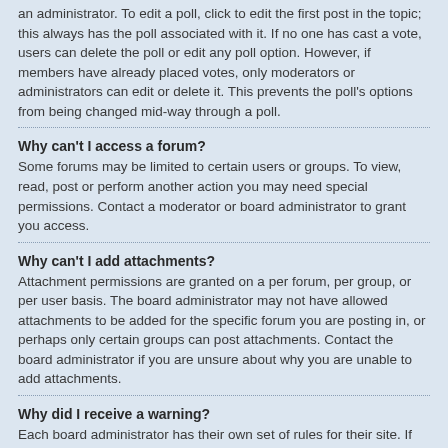an administrator. To edit a poll, click to edit the first post in the topic; this always has the poll associated with it. If no one has cast a vote, users can delete the poll or edit any poll option. However, if members have already placed votes, only moderators or administrators can edit or delete it. This prevents the poll's options from being changed mid-way through a poll.
Why can't I access a forum?
Some forums may be limited to certain users or groups. To view, read, post or perform another action you may need special permissions. Contact a moderator or board administrator to grant you access.
Why can't I add attachments?
Attachment permissions are granted on a per forum, per group, or per user basis. The board administrator may not have allowed attachments to be added for the specific forum you are posting in, or perhaps only certain groups can post attachments. Contact the board administrator if you are unsure about why you are unable to add attachments.
Why did I receive a warning?
Each board administrator has their own set of rules for their site. If you have broken a rule, you may be issued a warning. Please note that this is the board administrator's decision, and the phpBB Limited has nothing to do with the warnings on the given site. Contact the board administrator if you are unsure about why you were issued a warning.